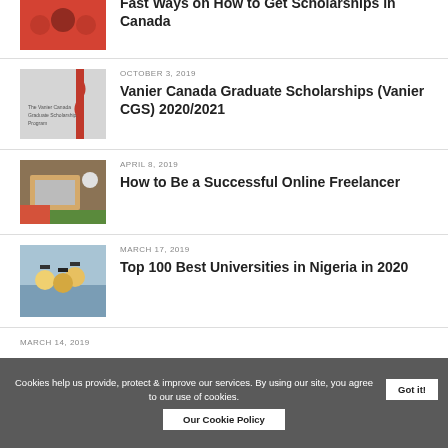Fast Ways on How to Get Scholarships in Canada
OCTOBER 3, 2019
Vanier Canada Graduate Scholarships (Vanier CGS) 2020/2021
APRIL 8, 2019
How to Be a Successful Online Freelancer
MARCH 17, 2019
Top 100 Best Universities in Nigeria in 2020
MARCH 14, 2019
Cookies help us provide, protect & improve our services. By using our site, you agree to our use of cookies.
Got it!
Our Cookie Policy